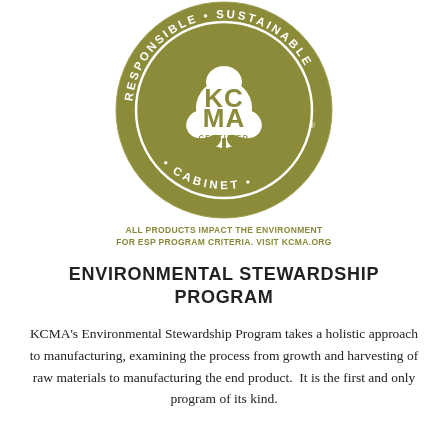[Figure (logo): KCMA Certified seal — circular olive/khaki green badge with text 'RESPONSIBLE • SUSTAINABLE • CABINET •' around the outer ring, and a stylized cotton boll shape in the center containing the text 'KC MA CERTIFIED'. Registered trademark symbol to the lower right.]
ALL PRODUCTS IMPACT THE ENVIRONMENT
FOR ESP PROGRAM CRITERIA. VISIT KCMA.ORG
ENVIRONMENTAL STEWARDSHIP PROGRAM
KCMA's Environmental Stewardship Program takes a holistic approach to manufacturing, examining the process from growth and harvesting of raw materials to manufacturing the end product.  It is the first and only program of its kind.